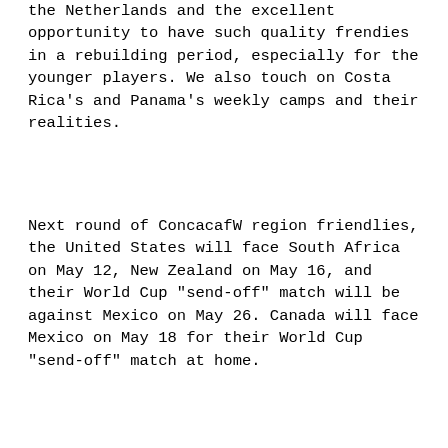the Netherlands and the excellent opportunity to have such quality frendies in a rebuilding period, especially for the younger players. We also touch on Costa Rica's and Panama's weekly camps and their realities.
Next round of ConcacafW region friendlies, the United States will face South Africa on May 12, New Zealand on May 16, and their World Cup "send-off" match will be against Mexico on May 26. Canada will face Mexico on May 18 for their World Cup "send-off" match at home.